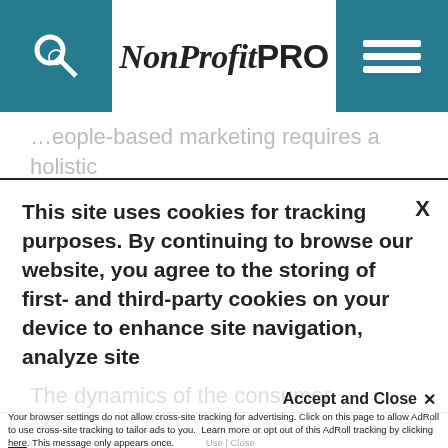NonProfit PRO
People-based marketing requires a holistic engagement strategy to provide relevant, personal and rewarding experiences for those individuals who support your organizations, either financially or through service.
There's no doubt, it can be challenging. The dynamics of the consumer marketplace are changing rapidly, forcing businesses in all
This site uses cookies for tracking purposes. By continuing to browse our website, you agree to the storing of first- and third-party cookies on your device to enhance site navigation, analyze site
usage, and assist in our marketing and
Accept and Close ✕
Your browser settings do not allow cross-site tracking for advertising. Click on this page to allow AdRoll to use cross-site tracking to tailor ads to you. Learn more or opt out of this AdRoll tracking by clicking here. This message only appears once.